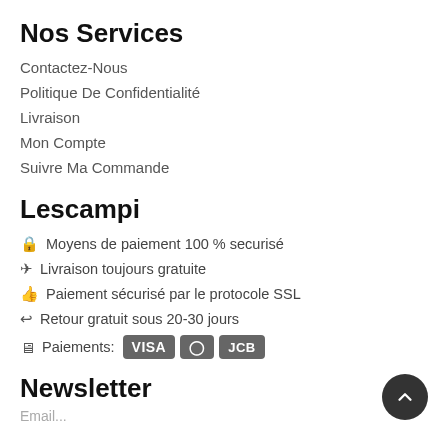Nos Services
Contactez-Nous
Politique De Confidentialité
Livraison
Mon Compte
Suivre Ma Commande
Lescampi
Moyens de paiement 100 % securisé
Livraison toujours gratuite
Paiement sécurisé par le protocole SSL
Retour gratuit sous 20-30 jours
Paiements: VISA Mastercard JCB
Newsletter